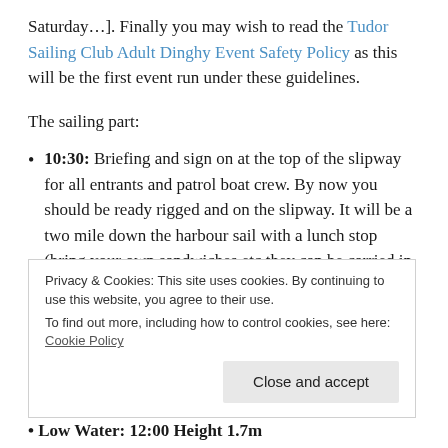Saturday…]. Finally you may wish to read the Tudor Sailing Club Adult Dinghy Event Safety Policy as this will be the first event run under these guidelines.
The sailing part:
10:30: Briefing and sign on at the top of the slipway for all entrants and patrol boat crew. By now you should be ready rigged and on the slipway. It will be a two mile down the harbour sail with a lunch stop (bring your own sandwiches etc they can be carried in the RIB if you are in a dinghy with limited stowage) and then a two mile sail back.
Privacy & Cookies: This site uses cookies. By continuing to use this website, you agree to their use. To find out more, including how to control cookies, see here: Cookie Policy
Low Water: 12:00 Height 1.7m